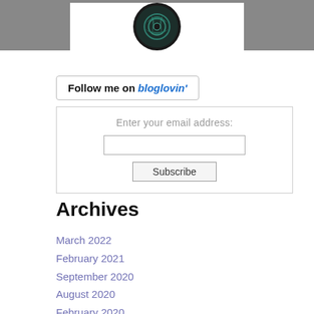[Figure (illustration): Circular decorative artwork with teal/dark floral pattern on dark background, shown inside a white card on a gray background. Only the bottom portion of the image is visible.]
Follow me on bloglovin'
Enter your email address:
Subscribe
Archives
March 2022
February 2021
September 2020
August 2020
February 2020
December 2019
October 2019